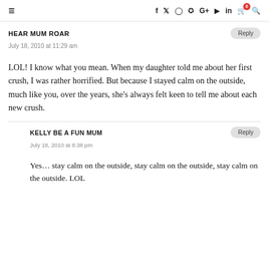Navigation bar with hamburger menu, social icons (f, twitter, instagram, pinterest, G+, youtube, linkedin, cart, search)
HEAR MUM ROAR
July 18, 2010 at 11:29 am
LOL! I know what you mean. When my daughter told me about her first crush, I was rather horrified. But because I stayed calm on the outside, much like you, over the years, she's always felt keen to tell me about each new crush.
KELLY BE A FUN MUM
July 18, 2010 at 8:38 pm
Yes… stay calm on the outside, stay calm on the outside, stay calm on the outside. LOL